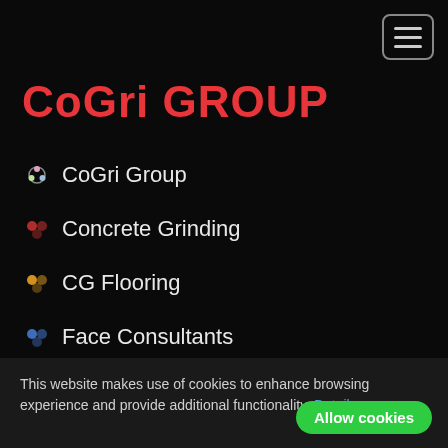[Figure (screenshot): Hamburger menu button (three horizontal lines) inside a rounded rectangle border]
CoGri GROUP
CoGri Group
Concrete Grinding
CG Flooring
Face Consultants
CoGri Engineering
Joint Stabiliser
This website makes use of cookies to enhance browsing experience and provide additional functionality. Details
Allow cookies